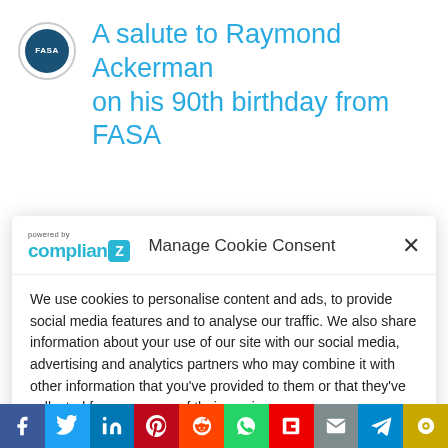A salute to Raymond Ackerman on his 90th birthday from FASA and from his community
Manage Cookie Consent
We use cookies to personalise content and ads, to provide social media features and to analyse our traffic. We also share information about your use of our site with our social media, advertising and analytics partners who may combine it with other information that you've provided to them or that they've collected from your use of their services.
Accept
Deny